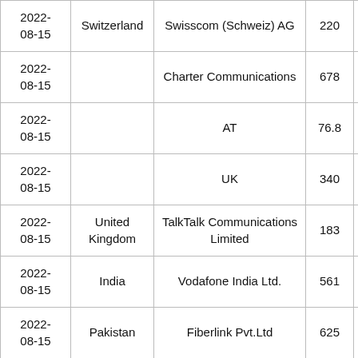| Date | Country | Operator | Value |  |
| --- | --- | --- | --- | --- |
| 2022-08-15 | Switzerland | Swisscom (Schweiz) AG | 220 |  |
| 2022-08-15 |  | Charter Communications | 678 |  |
| 2022-08-15 |  | AT | 76.8 |  |
| 2022-08-15 |  | UK | 340 |  |
| 2022-08-15 | United Kingdom | TalkTalk Communications Limited | 183 |  |
| 2022-08-15 | India | Vodafone India Ltd. | 561 |  |
| 2022-08-15 | Pakistan | Fiberlink Pvt.Ltd | 625 |  |